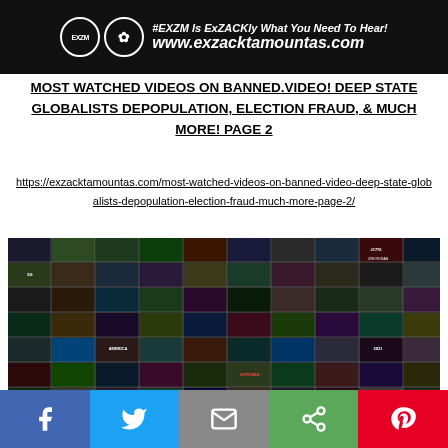#EXZM Is ExZACKly What You Need To Hear! www.exzacktamountas.com
MOST WATCHED VIDEOS ON BANNED.VIDEO! DEEP STATE GLOBALISTS DEPOPULATION, ELECTION FRAUD, & MUCH MORE! PAGE 2
https://exzacktamountas.com/most-watched-videos-on-banned-video-deep-state-globalists-depopulation-election-fraud-much-more-page-2/
[Figure (screenshot): Grid collage of many video thumbnails from banned.video covering topics such as 5G, election fraud, depopulation, Joe Rogan, #1776, America, and various political and conspiracy-related content]
Social share bar with Facebook, Twitter, Email, Share, and Pinterest buttons